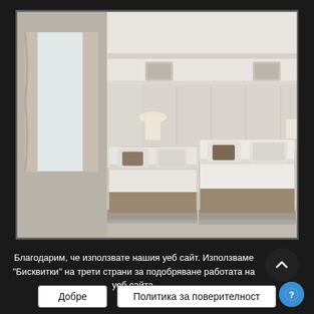[Figure (photo): Hotel twin room with two beds made with white and beige linens, decorative brown throw blankets, taupe accent pillows, upholstered headboard, bedside lamps, wall-mounted artwork, gray armchair near large floor-to-ceiling windows with sheer curtains letting in natural light. Modern neutral interior.]
Благодарим, че използвате нашия уеб сайт. Използваме "Бисквитки" на трети страни за подобряване работата на уеб сайта.
Добре
Политика за поверителност